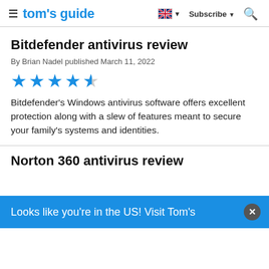tom's guide | Subscribe
Bitdefender antivirus review
By Brian Nadel published March 11, 2022
[Figure (other): 4.5 out of 5 stars rating shown as blue stars]
Bitdefender's Windows antivirus software offers excellent protection along with a slew of features meant to secure your family's systems and identities.
Norton 360 antivirus review
Looks like you're in the US! Visit Tom's